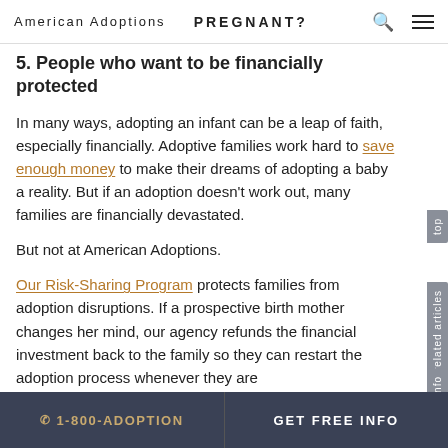American Adoptions   PREGNANT?
5. People who want to be financially protected
In many ways, adopting an infant can be a leap of faith, especially financially. Adoptive families work hard to save enough money to make their dreams of adopting a baby a reality. But if an adoption doesn't work out, many families are financially devastated.
But not at American Adoptions.
Our Risk-Sharing Program protects families from adoption disruptions. If a prospective birth mother changes her mind, our agency refunds the financial investment back to the family so they can restart the adoption process whenever they are
☎ 1-800-ADOPTION   GET FREE INFO